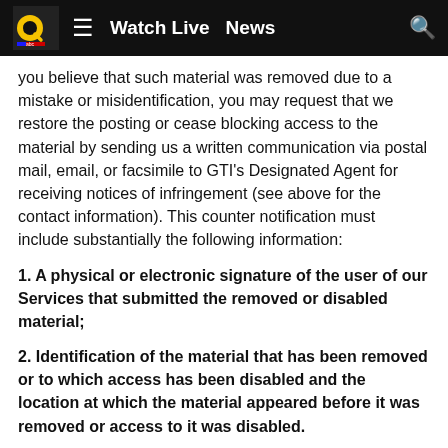Watch Live  News
you believe that such material was removed due to a mistake or misidentification, you may request that we restore the posting or cease blocking access to the material by sending us a written communication via postal mail, email, or facsimile to GTI’s Designated Agent for receiving notices of infringement (see above for the contact information). This counter notification must include substantially the following information:
1. A physical or electronic signature of the user of our Services that submitted the removed or disabled material;
2. Identification of the material that has been removed or to which access has been disabled and the location at which the material appeared before it was removed or access to it was disabled.